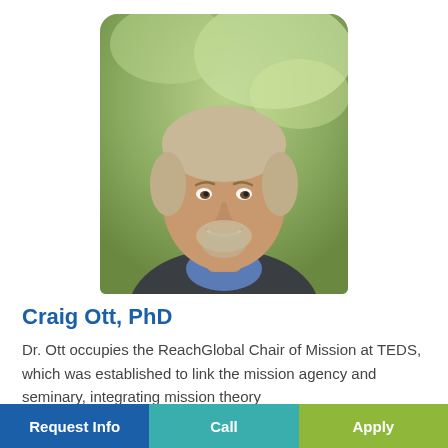[Figure (photo): Headshot portrait of Craig Ott, PhD — a middle-aged man with gray-blond hair and beard, wearing a blue shirt and dark jacket, smiling, with blurred green foliage background.]
Craig Ott, PhD
Dr. Ott occupies the ReachGlobal Chair of Mission at TEDS, which was established to link the mission agency and seminary, integrating mission theory
Request Info   Call   Apply